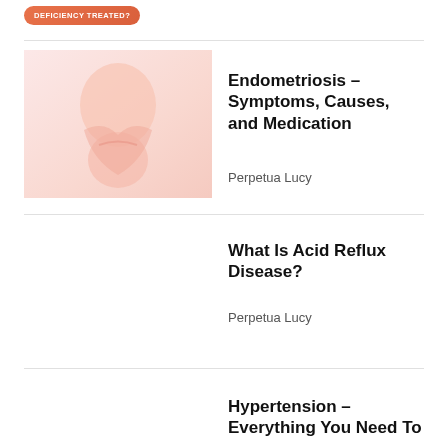[Figure (other): Orange pill-shaped button/badge with text 'DEFICIENCY TREATED?']
[Figure (photo): A person holding their abdomen area, pink/light toned image, related to endometriosis article]
Endometriosis – Symptoms, Causes, and Medication
Perpetua Lucy
What Is Acid Reflux Disease?
Perpetua Lucy
Hypertension – Everything You Need To